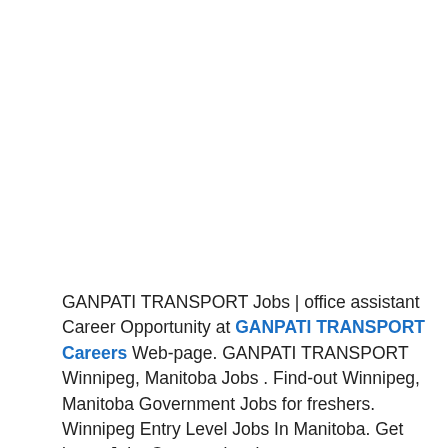GANPATI TRANSPORT Jobs | office assistant Career Opportunity at GANPATI TRANSPORT Careers Web-page. GANPATI TRANSPORT Winnipeg, Manitoba Jobs . Find-out Winnipeg, Manitoba Government Jobs for freshers. Winnipeg Entry Level Jobs In Manitoba. Get latest Jobs Opportunity also